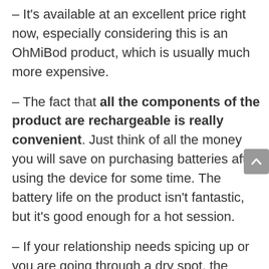– It's available at an excellent price right now, especially considering this is an OhMiBod product, which is usually much more expensive.
– The fact that all the components of the product are rechargeable is really convenient. Just think of all the money you will save on purchasing batteries after using the device for some time. The battery life on the product isn't fantastic, but it's good enough for a hot session.
– If your relationship needs spicing up or you are going through a dry spot, the Ohmibod Club Vibe 3.OH Panty Vibe could be all you need.